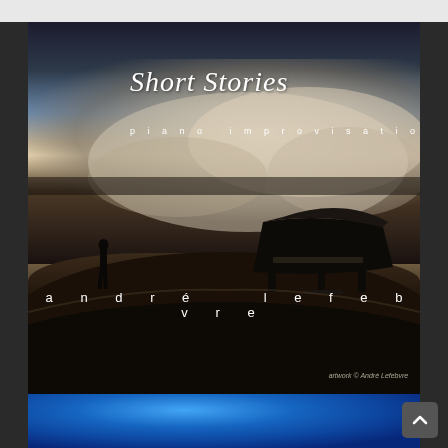[Figure (illustration): Album cover for 'Short Stories: piano improvisations' by André Lefebvre. Dark atmospheric image showing a lone human silhouette and a grand piano silhouette on a hill against a dramatic stormy sky with golden clouds. White handwritten-style title text 'Short Stories' and spaced subtitle 'piano improvisations'. Artist name 'andré lefebvre' in widely spaced lowercase letters. Credit reads 'artwork © André Lefebvre'.]
[Figure (photo): Bottom strip showing blue gradient, partially visible, appears to be another album or image below.]